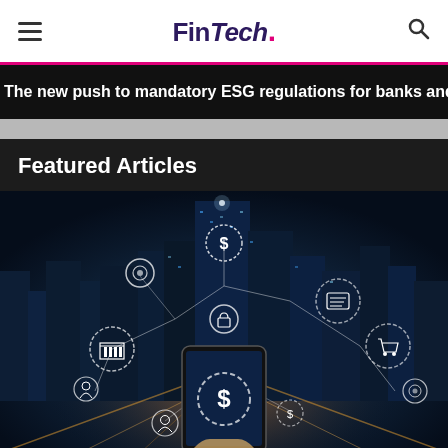FinTech.
The new push to mandatory ESG regulations for banks and
Featured Articles
[Figure (photo): Aerial night city view with a hand holding a smartphone in the foreground. Digital fintech icons (dollar sign, bank, lock, shopping cart, camera, person) connected by lines overlay the cityscape, representing financial technology network connectivity.]